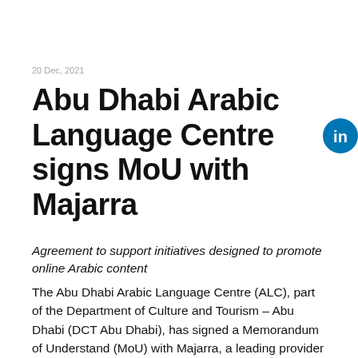20 Dec, 2021
Abu Dhabi Arabic Language Centre signs MoU with Majarra
Agreement to support initiatives designed to promote online Arabic content
The Abu Dhabi Arabic Language Centre (ALC), part of the Department of Culture and Tourism – Abu Dhabi (DCT Abu Dhabi), has signed a Memorandum of Understanding (MoU) with Majarra, a leading provider of online Arabic content, to collaborate in multiple areas to promote the Arabic language both online and offline. The MoU signing ceremony was held during the two-day Arabic Language Summit at Expo Dubai 2020, with signatories HE Dr. Ali bin Tamim, Chairman of ALC, and